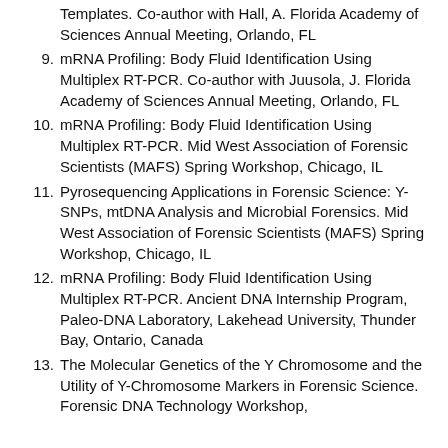Templates.  Co-author with Hall, A.  Florida Academy of Sciences Annual Meeting, Orlando, FL
9. mRNA Profiling: Body Fluid Identification Using Multiplex RT-PCR.  Co-author with Juusola, J.  Florida Academy of Sciences Annual Meeting, Orlando, FL
10. mRNA Profiling: Body Fluid Identification Using Multiplex RT-PCR.  Mid West Association of Forensic Scientists (MAFS) Spring Workshop, Chicago, IL
11. Pyrosequencing Applications in Forensic Science: Y-SNPs, mtDNA Analysis and Microbial Forensics.  Mid West Association of Forensic Scientists (MAFS) Spring Workshop, Chicago, IL
12. mRNA Profiling: Body Fluid Identification Using Multiplex RT-PCR.  Ancient DNA Internship Program, Paleo-DNA Laboratory, Lakehead University, Thunder Bay, Ontario, Canada
13. The Molecular Genetics of the Y Chromosome and the Utility of Y-Chromosome Markers in Forensic Science.  Forensic DNA Technology Workshop,